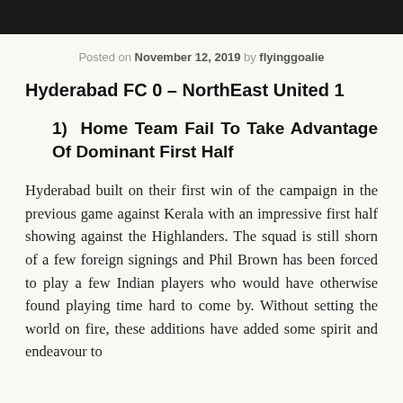Posted on November 12, 2019 by flyinggoalie
Hyderabad FC 0 – NorthEast United 1
1)  Home Team Fail To Take Advantage Of Dominant First Half
Hyderabad built on their first win of the campaign in the previous game against Kerala with an impressive first half showing against the Highlanders. The squad is still shorn of a few foreign signings and Phil Brown has been forced to play a few Indian players who would have otherwise found playing time hard to come by. Without setting the world on fire, these additions have added some spirit and endeavour to